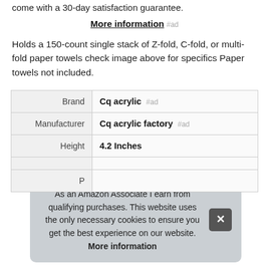come with a 30-day satisfaction guarantee.
More information #ad
Holds a 150-count single stack of Z-fold, C-fold, or multi-fold paper towels check image above for specifics Paper towels not included.
|  |  |
| --- | --- |
| Brand | Cq acrylic #ad |
| Manufacturer | Cq acrylic factory #ad |
| Height | 4.2 Inches |
|  |  |
| P |  |
As an Amazon Associate I earn from qualifying purchases. This website uses the only necessary cookies to ensure you get the best experience on our website. More information